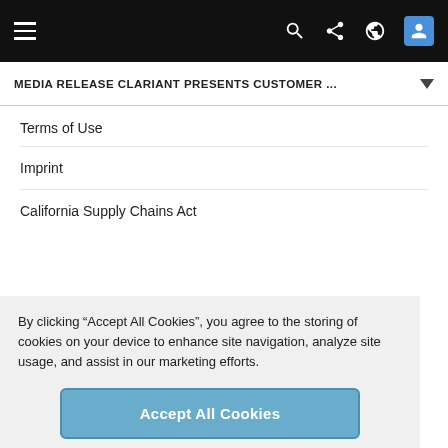MEDIA RELEASE CLARIANT PRESENTS CUSTOMER ...
Terms of Use
Imprint
California Supply Chains Act
By clicking "Accept All Cookies", you agree to the storing of cookies on your device to enhance site navigation, analyze site usage, and assist in our marketing efforts.
Accept All Cookies
Cookies Settings